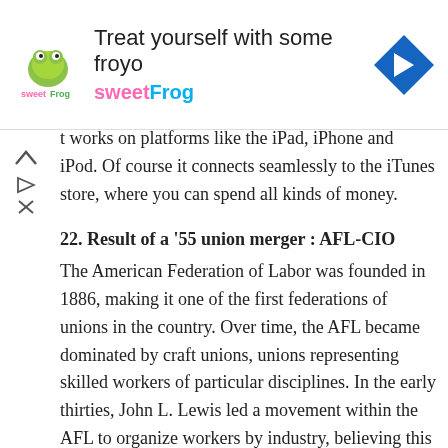[Figure (other): Advertisement banner for sweetFrog frozen yogurt with logo, headline text 'Treat yourself with some froyo', brand name 'sweetFrog', and a navigation arrow icon]
it works on platforms like the iPad, iPhone and iPod. Of course it connects seamlessly to the iTunes store, where you can spend all kinds of money.
22. Result of a '55 union merger : AFL-CIO
The American Federation of Labor was founded in 1886, making it one of the first federations of unions in the country. Over time, the AFL became dominated by craft unions, unions representing skilled workers of particular disciplines. In the early thirties, John L. Lewis led a movement within the AFL to organize workers by industry, believing this would be more effective for the members. But the craft unions refused to budge, so Lewis set up a rival federation of unions in 1932, the Congress of